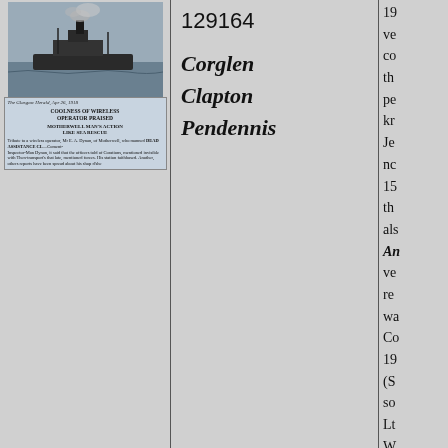[Figure (photo): Black and white photograph of a ship at sea, with smoke visible]
[Figure (photo): Newspaper clipping from The Glasgow Herald, Apr 26, 1918, headline: COOLNESS OF WIRELESS OPERATOR PRAISED, subhead: MOTHERWELL MAN'S ACTION LIKE SEA RESCUE, with body text about tribute to wireless operator Mr E.A. Dynan of Motherwell]
129164
Corglen
Clapton
Pendennis
19... ve... co... th... pe... kr... Je... nc... 15... th... als... An... ve... re... wa... Co... 19... (S... so... Lt... W... M...